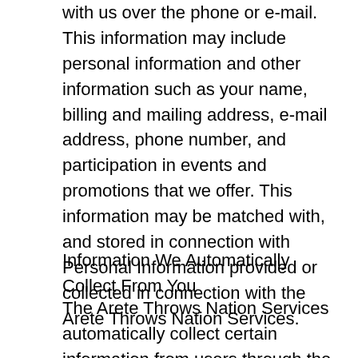with us over the phone or e-mail. This information may include personal information and other information such as your name, billing and mailing address, e-mail address, phone number, and participation in events and promotions that we offer. This information may be matched with, and stored in connection with Personal Information provided or collected in connection with the Arete Throws Nation Services.
Information We Automatically Collect From You
The Arete Throws Nation Services automatically collect certain information from users through the use of “cookies” and other tracking mechanisms. Information automatically